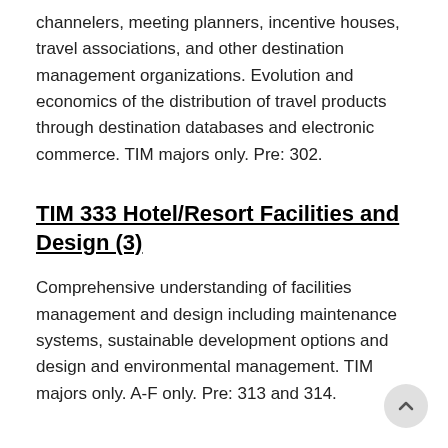channelers, meeting planners, incentive houses, travel associations, and other destination management organizations. Evolution and economics of the distribution of travel products through destination databases and electronic commerce. TIM majors only. Pre: 302.
TIM 333 Hotel/Resort Facilities and Design (3)
Comprehensive understanding of facilities management and design including maintenance systems, sustainable development options and design and environmental management. TIM majors only. A-F only. Pre: 313 and 314.